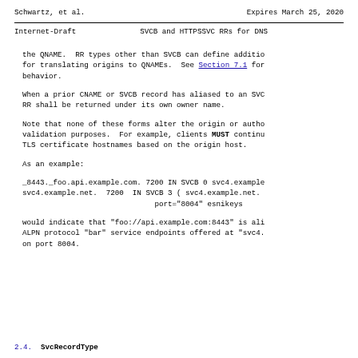Schwartz, et al.        Expires March 25, 2020
Internet-Draft         SVCB and HTTPSSVC RRs for DNS
the QNAME.  RR types other than SVCB can define additio for translating origins to QNAMEs.  See Section 7.1 for behavior.
When a prior CNAME or SVCB record has aliased to an SVC RR shall be returned under its own owner name.
Note that none of these forms alter the origin or autho validation purposes.  For example, clients MUST continu TLS certificate hostnames based on the origin host.
As an example:
_8443._foo.api.example.com. 7200 IN SVCB 0 svc4.example svc4.example.net.  7200  IN SVCB 3 ( svc4.example.net.                               port="8004" esnikeys
would indicate that "foo://api.example.com:8443" is ali ALPN protocol "bar" service endpoints offered at "svc4. on port 8004.
2.4.  SvcRecordType